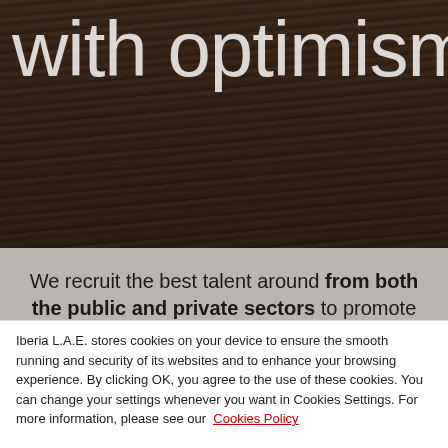with optimism
We recruit the best talent around from both the public and private sectors to promote research and innovation projects to develop new technologies that allow us to continue reducing our environmental impact. We look for solutions together with universities and companies,
Iberia L.A.E. stores cookies on your device to ensure the smooth running and security of its websites and to enhance your browsing experience. By clicking OK, you agree to the use of these cookies. You can change your settings whenever you want in Cookies Settings. For more information, please see our Cookies Policy